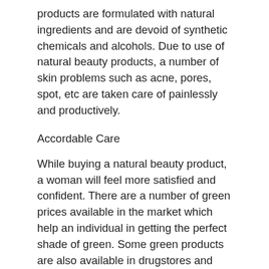products are formulated with natural ingredients and are devoid of synthetic chemicals and alcohols. Due to use of natural beauty products, a number of skin problems such as acne, pores, spot, etc are taken care of painlessly and productively.
Accordable Care
While buying a natural beauty product, a woman will feel more satisfied and confident. There are a number of green prices available in the market which help an individual in getting the perfect shade of green. Some green products are also available in drugstores and corner stores. [link text] However, buying these products are not reliable as there would be a lot of variety available and it may be very difficult to choose the right color. You may end up splurging on an expensive product that will make you look great but will really leave an amateur in a rage.